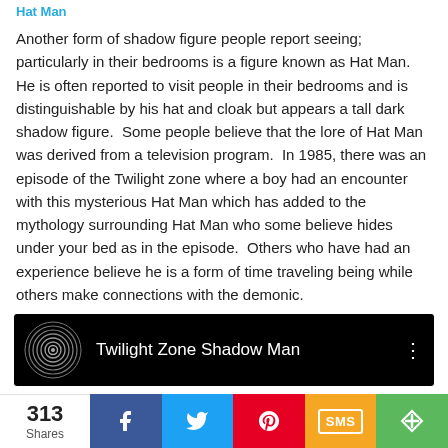Hat Man
Another form of shadow figure people report seeing; particularly in their bedrooms is a figure known as Hat Man.   He is often reported to visit people in their bedrooms and is distinguishable by his hat and cloak but appears a tall dark shadow figure.  Some people believe that the lore of Hat Man was derived from a television program.  In 1985, there was an episode of the Twilight zone where a boy had an encounter with this mysterious Hat Man which has added to the mythology surrounding Hat Man who some believe hides under your bed as in the episode.  Others who have had an experience believe he is a form of time traveling being while others make connections with the demonic.
[Figure (screenshot): YouTube video thumbnail showing 'Twilight Zone Shadow Man' with a spiral logo on black background]
[Figure (infographic): Social share bar showing 313 Shares, with buttons for Facebook, Twitter, Pinterest, SMS, and More]